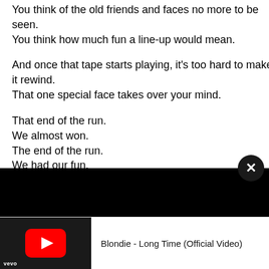You think of the old friends and faces no more to be seen.
You think how much fun a line-up would mean.
And once that tape starts playing, it's too hard to make it rewind.
That one special face takes over your mind.
That end of the run.
We almost won.
The end of the run.
We had our fun.
The end of the run.
I knew it then.
It won't be back again.
[Figure (screenshot): YouTube video embed showing black video area with close button (X) and video thumbnail bar at bottom showing Blondie - Long Time (Official Video) with YouTube/Vevo branding]